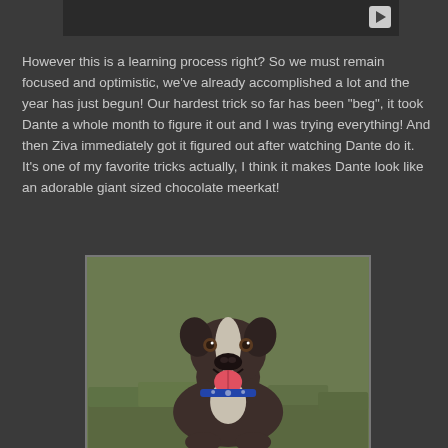[Figure (screenshot): Video thumbnail with play button in top right corner on dark background]
However this is a learning process right? So we must remain focused and optimistic, we've already accomplished a lot and the year has just begun! Our hardest trick so far has been "beg", it took Dante a whole month to figure it out and I was trying everything! And then Ziva immediately got it figured out after watching Dante do it. It's one of my favorite tricks actually, I think it makes Dante look like an adorable giant sized chocolate meerkat!
[Figure (photo): A dark brindle and white pit bull or Staffordshire terrier dog sitting on grass, facing the camera with mouth open and tongue out, wearing a collar]